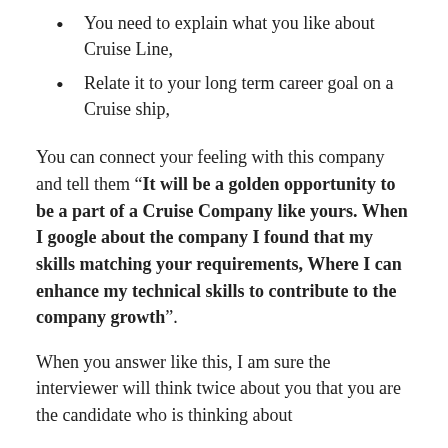You need to explain what you like about Cruise Line,
Relate it to your long term career goal on a Cruise ship,
You can connect your feeling with this company and tell them “It will be a golden opportunity to be a part of a Cruise Company like yours. When I google about the company I found that my skills matching your requirements, Where I can enhance my technical skills to contribute to the company growth”.
When you answer like this, I am sure the interviewer will think twice about you that you are the candidate who is thinking about